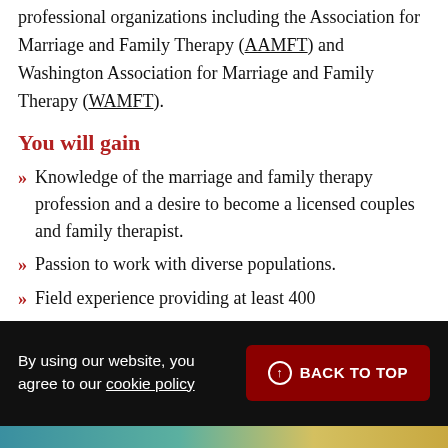professional organizations including the Association for Marriage and Family Therapy (AAMFT) and Washington Association for Marriage and Family Therapy (WAMFT).
You will gain
Knowledge of the marriage and family therapy profession and a desire to become a licensed couples and family therapist.
Passion to work with diverse populations.
Field experience providing at least 400
By using our website, you agree to our cookie policy